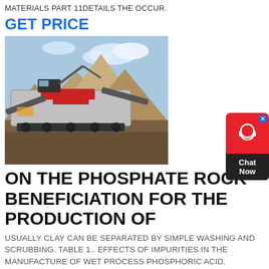MATERIALS PART 11DETAILS THE OCCUR.
GET PRICE
[Figure (photo): Photograph of a large mobile crushing or screening machine on a dirt/gravel site with large mounds of rock or mineral aggregate in the background and blue sky with clouds above.]
ON THE PHOSPHATE ROCK BENEFICIATION FOR THE PRODUCTION OF
USUALLY CLAY CAN BE SEPARATED BY SIMPLE WASHING AND SCRUBBING. TABLE 1.. EFFECTS OF IMPURITIES IN THE MANUFACTURE OF WET PROCESS PHOSPHORIC ACID.